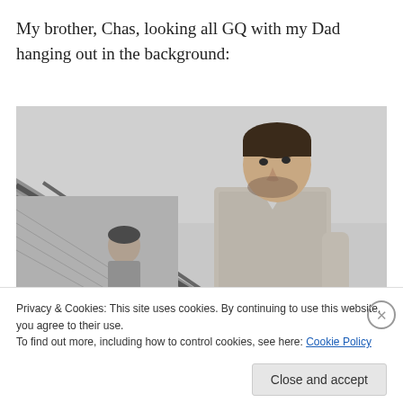My brother, Chas, looking all GQ with my Dad hanging out in the background:
[Figure (photo): Black and white photograph of a young man (Chas) in a button-up shirt looking to the side, with a diagonal railing/wall structure in the background and another person (Dad) partially visible in the background. Sky is overcast.]
Privacy & Cookies: This site uses cookies. By continuing to use this website, you agree to their use.
To find out more, including how to control cookies, see here: Cookie Policy
Close and accept